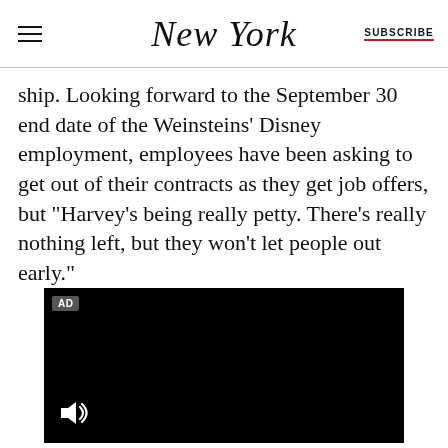New York | SUBSCRIBE
ship. Looking forward to the September 30 end date of the Weinsteins' Disney employment, employees have been asking to get out of their contracts as they get job offers, but “Harvey’s being really petty. There’s really nothing left, but they won’t let people out early.”
[Figure (other): Black video advertisement player with AD badge in top-left corner and speaker/audio icon in bottom-left corner]